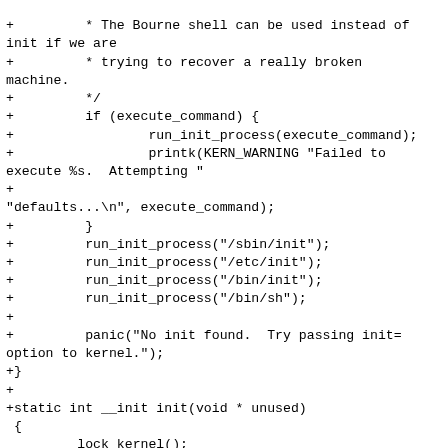+         * The Bourne shell can be used instead of init if we are
+         * trying to recover a really broken machine.
+         */
+         if (execute_command) {
+                 run_init_process(execute_command);
+                 printk(KERN_WARNING "Failed to execute %s.  Attempting "
+
"defaults...\n", execute_command);
+         }
+         run_init_process("/sbin/init");
+         run_init_process("/etc/init");
+         run_init_process("/bin/init");
+         run_init_process("/bin/sh");
+
+         panic("No init found.  Try passing init= option to kernel.");
+}
+
+static int __init init(void * unused)
 {
         lock_kernel();
         /*
@@ -761,39 +803,6 @@ static int init(void * unused)
          * we're essentially up and running. Get rid of the
          * initmem segments and start the user-